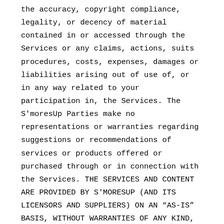the accuracy, copyright compliance, legality, or decency of material contained in or accessed through the Services or any claims, actions, suits procedures, costs, expenses, damages or liabilities arising out of use of, or in any way related to your participation in, the Services. The S'moresUp Parties make no representations or warranties regarding suggestions or recommendations of services or products offered or purchased through or in connection with the Services. THE SERVICES AND CONTENT ARE PROVIDED BY S'MORESUP (AND ITS LICENSORS AND SUPPLIERS) ON AN "AS-IS" BASIS, WITHOUT WARRANTIES OF ANY KIND, EITHER EXPRESS OR IMPLIED, INCLUDING, WITHOUT LIMITATION, IMPLIED WARRANTIES OF MERCHANTABILITY, FITNESS FOR A PARTICULAR PURPOSE, NON-INFRINGEMENT, OR THAT USE OF THE SERVICES WILL BE UNINTERRUPTED OR